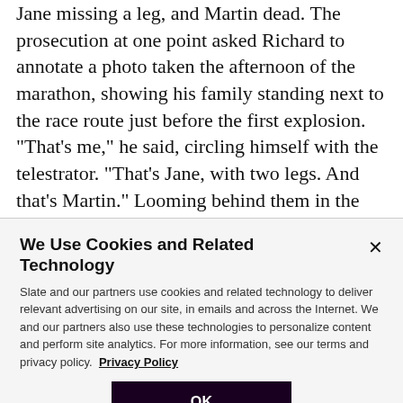Jane missing a leg, and Martin dead. The prosecution at one point asked Richard to annotate a photo taken the afternoon of the marathon, showing his family standing next to the race route just before the first explosion. "That's me," he said, circling himself with the telestrator. "That's Jane, with two legs. And that's Martin." Looming behind them in the photo, we could see a familiar, unsettling image—a skinny young man in a backward baseball cap. "Did you ever see this person with the
We Use Cookies and Related Technology
Slate and our partners use cookies and related technology to deliver relevant advertising on our site, in emails and across the Internet. We and our partners also use these technologies to personalize content and perform site analytics. For more information, see our terms and privacy policy.  Privacy Policy
OK